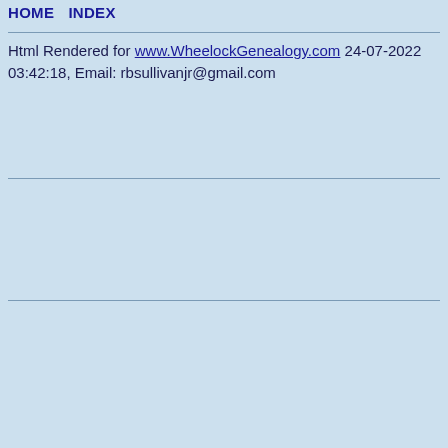HOME   INDEX
Html Rendered for www.WheelockGenealogy.com 24-07-2022 03:42:18, Email: rbsullivanjr@gmail.com